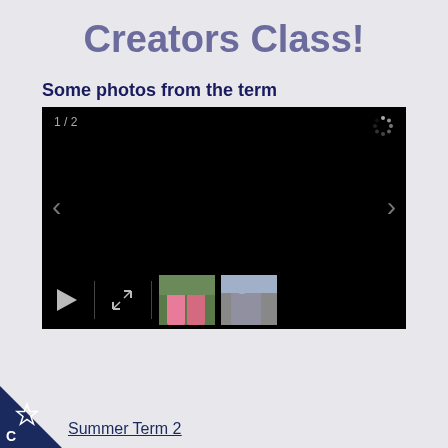Creators Class!
Some photos from the term
[Figure (screenshot): A slideshow/gallery widget showing a black main display area with navigation arrows, slide counter '1 / 2', a loading spinner, a bottom controls bar with play button, expand button, and two photo thumbnails of people.]
Summer Term 2